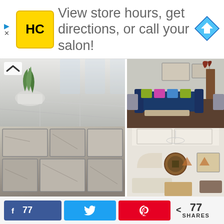[Figure (advertisement): Ad banner with HC salon logo (yellow square with black HC text), text 'View store hours, get directions, or call your salon!', and a blue navigation arrow icon on the right. Small close/skip controls at lower left.]
[Figure (photo): Interior flooring photo showing a light grey/white polished concrete floor with a potted plant in a white planter, large windows in background - top left grid image]
[Figure (photo): Outdoor patio/stone pavers photo showing weathered grey stone tiles in a herringbone-like pattern - middle left grid image]
[Figure (photo): Bathroom interior showing dark floor with teal/turquoise tile accent wall and dark countertop - bottom left grid image]
[Figure (photo): Modern living room with blue velvet sofa, colorful accent pillows, dark wood floor, artwork on walls, plants - top right grid image]
[Figure (photo): Bright living room with white coffered ceiling, chandelier, beige sofas, decorative round mirror, framed artwork - middle right grid image]
[Figure (photo): Partially visible room interior at bottom right of grid]
f 77
[Figure (infographic): Social sharing bar with Facebook (f 77), Twitter (bird icon), Pinterest (P icon), and share count < 77 SHARES]